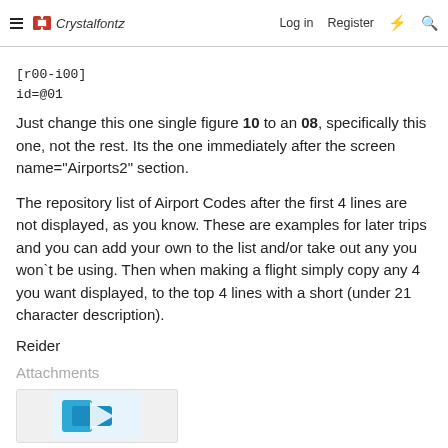Crystalfontz  Log in  Register
[r00-i00]
id=@01
Just change this one single figure 10 to an 08, specifically this one, not the rest. Its the one immediately after the screen name="Airports2" section.
The repository list of Airport Codes after the first 4 lines are not displayed, as you know. These are examples for later trips and you can add your own to the list and/or take out any you won`t be using. Then when making a flight simply copy any 4 you want displayed, to the top 4 lines with a short (under 21 character description).
Reider
Attachments
[Figure (other): Thumbnail image attachment preview with blue icon]